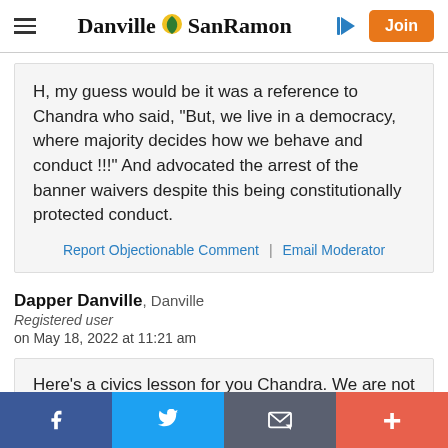Danville SanRamon
H, my guess would be it was a reference to Chandra who said, "But, we live in a democracy, where majority decides how we behave and conduct !!!" And advocated the arrest of the banner waivers despite this being constitutionally protected conduct.
Report Objectionable Comment | Email Moderator
Dapper Danville, Danville
Registered user
on May 18, 2022 at 11:21 am
Here's a civics lesson for you Chandra. We are not